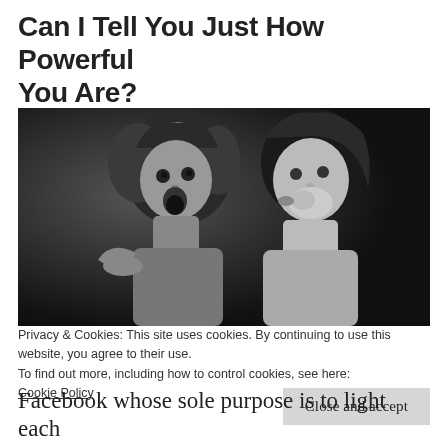Can I Tell You Just How Powerful You Are?
[Figure (photo): Vintage black and white photograph of two young girls, one whispering into the ear of the other who looks surprised with mouth open.]
Privacy & Cookies: This site uses cookies. By continuing to use this website, you agree to their use.
To find out more, including how to control cookies, see here:
Cookie Policy
Close and accept
Facebook whose sole purpose is to light each